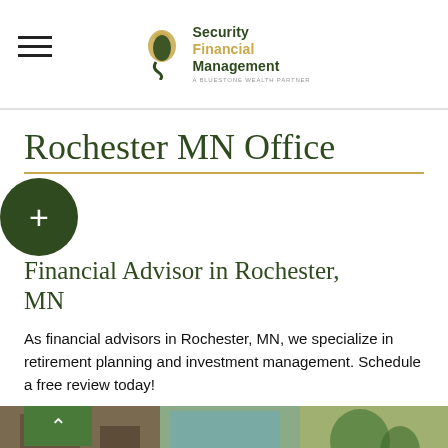[Figure (logo): Security Financial Management logo with leaf/hand icon and tagline 'A Bluestone Wealth Partner']
Rochester MN Office
Financial Advisor in Rochester, MN
As financial advisors in Rochester, MN, we specialize in retirement planning and investment management. Schedule a free review today!
[Figure (photo): Interior office photo showing furniture and plants]